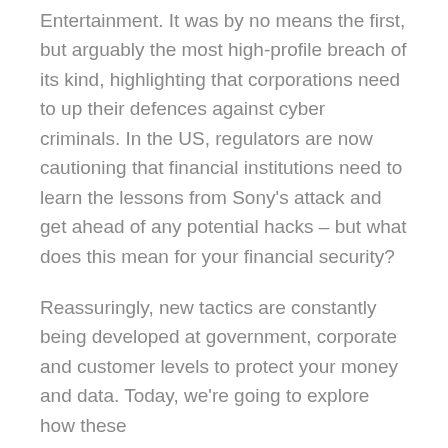Entertainment. It was by no means the first, but arguably the most high-profile breach of its kind, highlighting that corporations need to up their defences against cyber criminals. In the US, regulators are now cautioning that financial institutions need to learn the lessons from Sony's attack and get ahead of any potential hacks – but what does this mean for your financial security?
Reassuringly, new tactics are constantly being developed at government, corporate and customer levels to protect your money and data. Today, we're going to explore how these